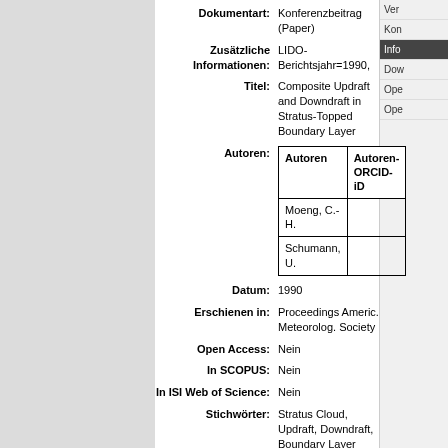Dokumentart: Konferenzbeitrag (Paper)
Zusätzliche Informationen: LIDO-Berichtsjahr=1990,
Titel: Composite Updraft and Downdraft in Stratus-Topped Boundary Layer
| Autoren | Autoren-ORCID-iD |
| --- | --- |
| Moeng, C.-H. |  |
| Schumann, U. |  |
Datum: 1990
Erschienen in: Proceedings Americ. Meteorolog. Society
Open Access: Nein
In SCOPUS: Nein
In ISI Web of Science: Nein
Stichwörter: Stratus Cloud, Updraft, Downdraft, Boundary Layer
Veranstaltungstitel: 9th Symp. on Turbulence and Diffusion, 29 April-3 May 1990, Roskilde, Denmark